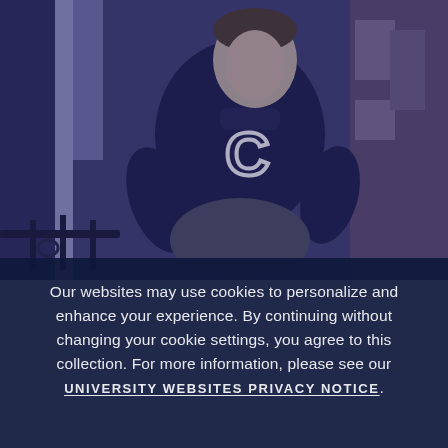[Figure (photo): Black and white / blue-tinted vintage photograph of a young man in a varsity sweater with a large 'C' letter, sitting casually outdoors in front of a brick building, smiling.]
Our websites may use cookies to personalize and enhance your experience. By continuing without changing your cookie settings, you agree to this collection. For more information, please see our UNIVERSITY WEBSITES PRIVACY NOTICE.